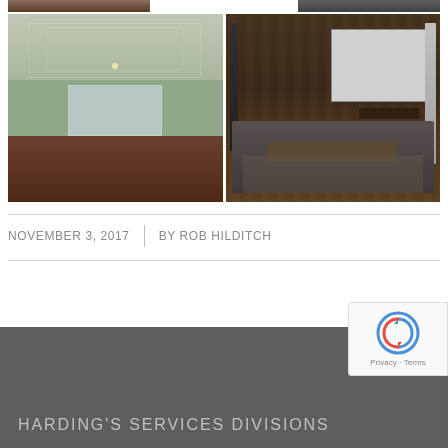[Figure (photo): Two cropped room interior photos at the very top of the page (partial, cut off)]
[Figure (photo): Left photo: bright hallway/living room interior with high ceilings, green walls, and dark hardwood floors. Right photo: modern home theater room with large projection screen, dark wood accent wall, and gray sectional sofa on a rug.]
NOVEMBER 3, 2017  |  BY ROB HILDITCH
HARDING'S SERVICES DIVISIONS